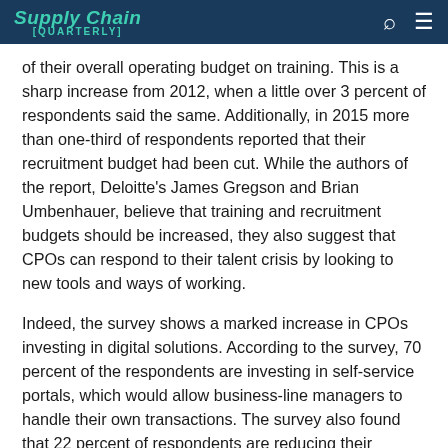Supply Chain [QUARTERLY]
of their overall operating budget on training. This is a sharp increase from 2012, when a little over 3 percent of respondents said the same. Additionally, in 2015 more than one-third of respondents reported that their recruitment budget had been cut. While the authors of the report, Deloitte's James Gregson and Brian Umbenhauer, believe that training and recruitment budgets should be increased, they also suggest that CPOs can respond to their talent crisis by looking to new tools and ways of working.
Indeed, the survey shows a marked increase in CPOs investing in digital solutions. According to the survey, 70 percent of the respondents are investing in self-service portals, which would allow business-line managers to handle their own transactions. The survey also found that 22 percent of respondents are reducing their investments in traditional technologies such as software solutions for